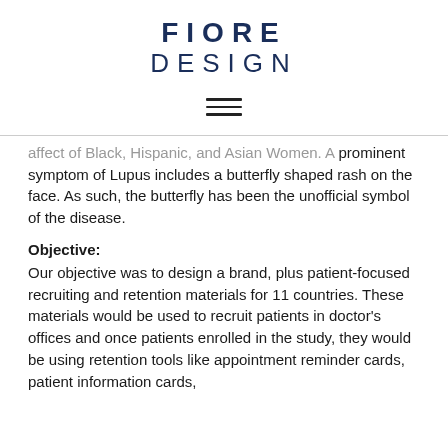FIORE DESIGN
[Figure (other): Hamburger menu icon (three horizontal lines)]
...affect of Black, Hispanic, and Asian Women. A prominent symptom of Lupus includes a butterfly shaped rash on the face. As such, the butterfly has been the unofficial symbol of the disease.
Objective:
Our objective was to design a brand, plus patient-focused recruiting and retention materials for 11 countries. These materials would be used to recruit patients in doctor's offices and once patients enrolled in the study, they would be using retention tools like appointment reminder cards, patient information cards...